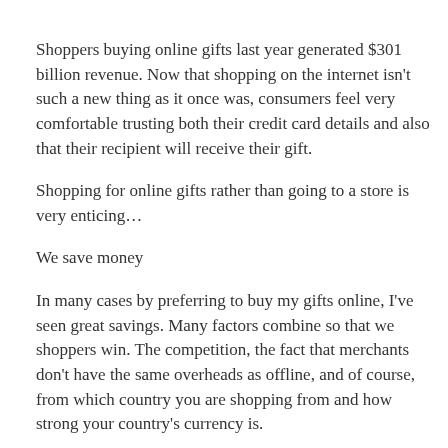Shoppers buying online gifts last year generated $301 billion revenue. Now that shopping on the internet isn't such a new thing as it once was, consumers feel very comfortable trusting both their credit card details and also that their recipient will receive their gift.
Shopping for online gifts rather than going to a store is very enticing…
We save money
In many cases by preferring to buy my gifts online, I've seen great savings. Many factors combine so that we shoppers win. The competition, the fact that merchants don't have the same overheads as offline, and of course, from which country you are shopping from and how strong your country's currency is.